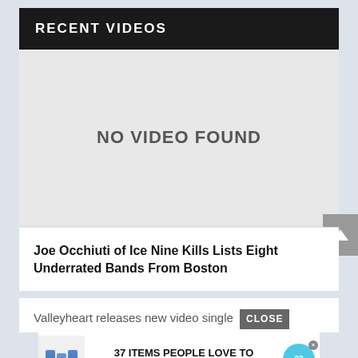RECENT VIDEOS
[Figure (screenshot): Video placeholder area showing 'NO VIDEO FOUND' message on light grey background]
Joe Occhiuti of Ice Nine Kills Lists Eight Underrated Bands From Boston
Valleyheart releases new video single vid
[Figure (infographic): Advertisement banner: '37 ITEMS PEOPLE LOVE TO PURCHASE ON AMAZON' with blue bottles image and 22 Words logo, with CLOSE button]